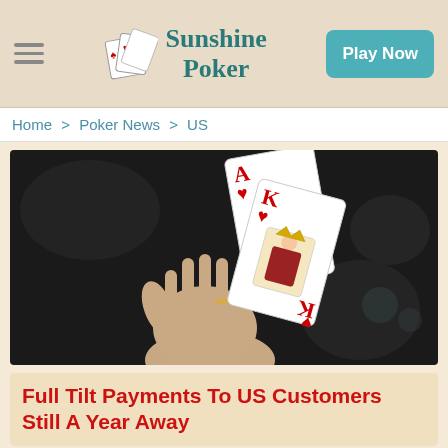Sunshine Poker — Play Now
Home > Poker News > US
[Figure (photo): A hand holding two playing cards — an Ace of Hearts and a King of Hearts — against a dark blurred background.]
Full Tilt Payments To US Customers Still A Year Away